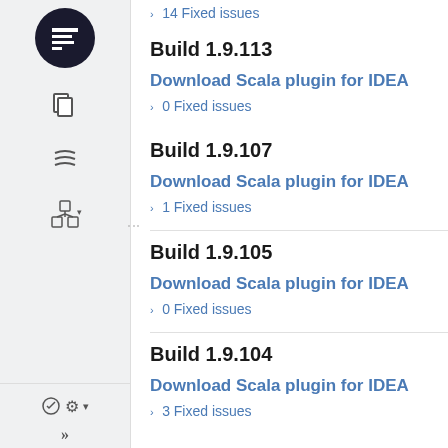14 Fixed issues
Build 1.9.113
Download Scala plugin for IDEA
0 Fixed issues
Build 1.9.107
Download Scala plugin for IDEA
1 Fixed issues
Build 1.9.105
Download Scala plugin for IDEA
0 Fixed issues
Build 1.9.104
Download Scala plugin for IDEA
3 Fixed issues